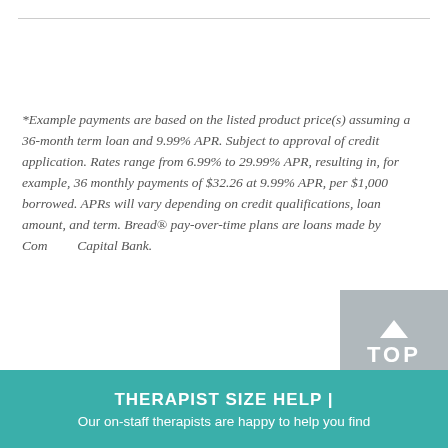*Example payments are based on the listed product price(s) assuming a 36-month term loan and 9.99% APR. Subject to approval of credit application. Rates range from 6.99% to 29.99% APR, resulting in, for example, 36 monthly payments of $32.26 at 9.99% APR, per $1,000 borrowed. APRs will vary depending on credit qualifications, loan amount, and term. Bread® pay-over-time plans are loans made by Comenity Capital Bank.
[Figure (other): Gray 'TOP' button with upward arrow for scrolling to top of page]
THERAPIST SIZE HELP |
Our on-staff therapists are happy to help you find